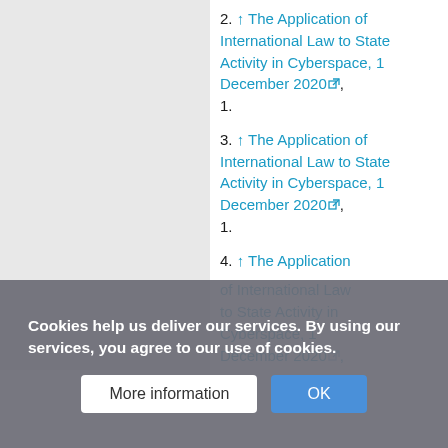2. ↑ The Application of International Law to State Activity in Cyberspace, 1 December 2020, 1.
3. ↑ The Application of International Law to State Activity in Cyberspace, 1 December 2020, 1.
4. ↑ The Application of International Law to State Activity in Cyberspace, 1 December 2020,
Cookies help us deliver our services. By using our services, you agree to our use of cookies.